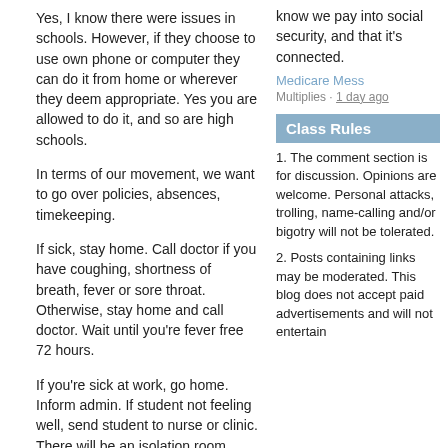Yes, I know there were issues in schools. However, if they choose to use own phone or computer they can do it from home or wherever they deem appropriate. Yes you are allowed to do it, and so are high schools.
In terms of our movement, we want to go over policies, absences, timekeeping.
If sick, stay home. Call doctor if you have coughing, shortness of breath, fever or sore throat. Otherwise, stay home and call doctor. Wait until you're fever free 72 hours.
If you're sick at work, go home. Inform admin. If student not feeling well, send student to nurse or clinic. There will be an isolation room.
DOE has been responsive about providing medical gowns, face shields, gloves and face masks for anyone feeling sick. People masked will wait and go home.
If confirmed case, location closed at least 24 hours until reopened. Will not count in CAR. For extended time, or required to self-isolate or quarantine, as determined by doctor, must be
know we pay into social security, and that it's connected.
Medicare Mess
Multiplies · 1 day ago
Class Rules
1. The comment section is for discussion. Opinions are welcome. Personal attacks, trolling, name-calling and/or bigotry will not be tolerated.
2. Posts containing links may be moderated. This blog does not accept paid advertisements and will not entertain